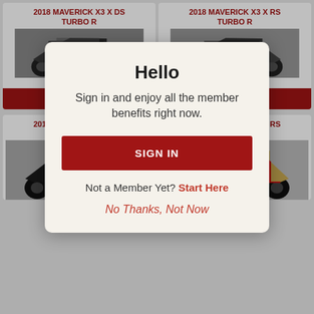2018 MAVERICK X3 X DS TURBO R
2018 MAVERICK X3 X RS TURBO R
[Figure (photo): 2018 Can-Am Maverick X3 X DS Turbo R side-angled view, dark colored off-road vehicle]
[Figure (photo): 2018 Can-Am Maverick X3 X RS Turbo R side-angled view, dark colored off-road vehicle]
P[artially obscured price text]
MS[RP partially obscured] 99
VIEW DETAILS
VIEW DETAILS
2018 MAVERICK X3 X RS TURBO R
2018 MAVERICK X3 X RS TURBO R
[Figure (photo): 2018 Can-Am Maverick X3 X RS Turbo R, black colored]
[Figure (photo): 2018 Can-Am Maverick X3 X RS Turbo R, red and gold colored]
[Figure (screenshot): Modal dialog overlay: Hello - Sign in and enjoy all the member benefits right now. With SIGN IN button, Not a Member Yet? Start Here, and No Thanks, Not Now link.]
Hello
Sign in and enjoy all the member benefits right now.
SIGN IN
Not a Member Yet?  Start Here
No Thanks, Not Now